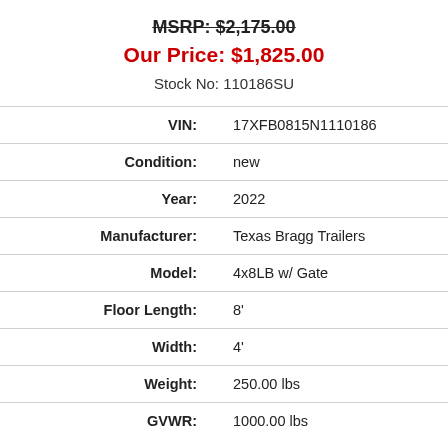MSRP: $2,175.00
Our Price: $1,825.00
Stock No: 110186SU
| Field | Value |
| --- | --- |
| VIN: | 17XFB0815N1110186 |
| Condition: | new |
| Year: | 2022 |
| Manufacturer: | Texas Bragg Trailers |
| Model: | 4x8LB w/ Gate |
| Floor Length: | 8' |
| Width: | 4' |
| Weight: | 250.00 lbs |
| GVWR: | 1000.00 lbs |